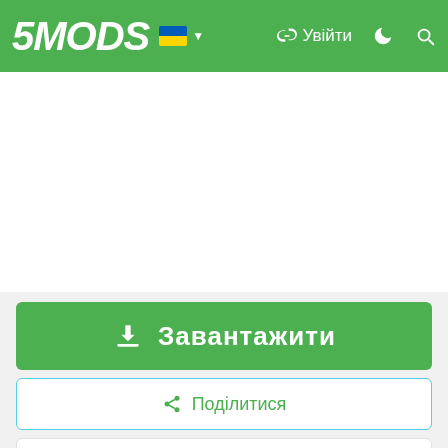5MODS — Увійти
[Figure (screenshot): White advertisement/blank area below the navigation header]
Завантажити
Поділитися
AbolfazIdanaee
[Figure (photo): Dark avatar image with text AbolfazIdanaee]